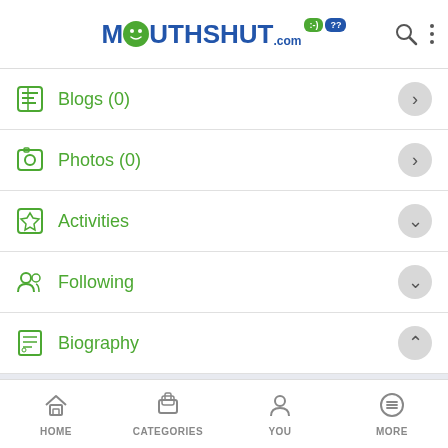MouthShut.com
Blogs (0)
Photos (0)
Activities
Following
Biography
It's hard for me to describe myself but any wayz i will give it a go.
I find it difficult making friends with someone on my
HOME  CATEGORIES  YOU  MORE